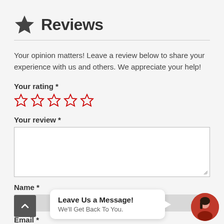Reviews
Your opinion matters! Leave a review below to share your experience with us and others. We appreciate your help!
Your rating *
[Figure (illustration): Five empty star outlines in red for rating input]
Your review *
[Figure (screenshot): A textarea input box for the review text]
Name *
Email *
Leave Us a Message! We'll Get Back To You.